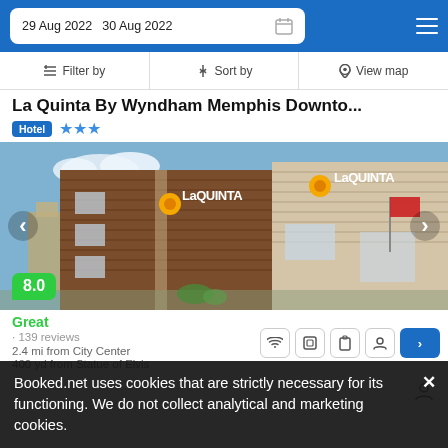29 Aug 2022   30 Aug 2022
Filter by   Sort by   View map
La Quinta By Wyndham Memphis Downto...
Hotel ★★★
[Figure (photo): Exterior photo of La Quinta by Wyndham hotel building with brown wood paneling, La Quinta signage with sunflower logo visible on two sides of the building, blue sky background, and city buildings in the background.]
8.0
Great
· 139 reviews
2.4 mi from City Center
400 yd from Statue of Elvis
Booked.net uses cookies that are strictly necessary for its functioning. We do not collect analytical and marketing cookies.